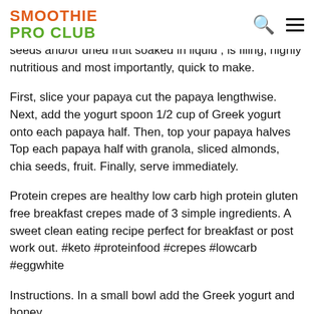SMOOTHIE PRO CLUB
seeds and/or dried fruit soaked in liquid , is filing, highly nutritious and most importantly, quick to make.
First, slice your papaya cut the papaya lengthwise. Next, add the yogurt spoon 1/2 cup of Greek yogurt onto each papaya half. Then, top your papaya halves Top each papaya half with granola, sliced almonds, chia seeds, fruit. Finally, serve immediately.
Protein crepes are healthy low carb high protein gluten free breakfast crepes made of 3 simple ingredients. A sweet clean eating recipe perfect for breakfast or post work out. #keto #proteinfood #crepes #lowcarb #eggwhite
Instructions. In a small bowl add the Greek yogurt and honey